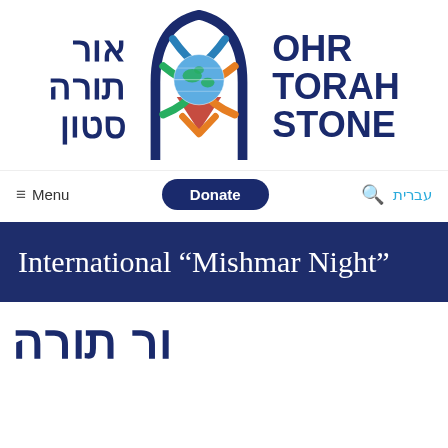[Figure (logo): Ohr Torah Stone organization logo with globe and geometric shapes in blue, green, orange, red, Hebrew text on the left and English text OHR TORAH STONE on the right]
≡  Menu
Donate
עברית
International “Mishmar Night”
[Figure (logo): Partial view of Ohr Torah Stone logo at bottom of page, partially cut off]